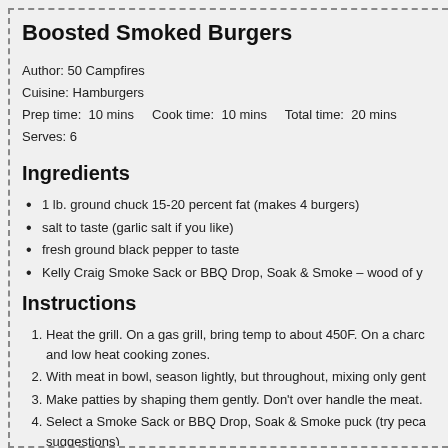Boosted Smoked Burgers
Author: 50 Campfires
Cuisine: Hamburgers
Prep time: 10 mins    Cook time: 10 mins    Total time: 20 mins
Serves: 6
Ingredients
1 lb. ground chuck 15-20 percent fat (makes 4 burgers)
salt to taste (garlic salt if you like)
fresh ground black pepper to taste
Kelly Craig Smoke Sack or BBQ Drop, Soak & Smoke – wood of y
Instructions
1. Heat the grill. On a gas grill, bring temp to about 450F. On a charc and low heat cooking zones.
2. With meat in bowl, season lightly, but throughout, mixing only gent
3. Make patties by shaping them gently. Don't over handle the meat.
4. Select a Smoke Sack or BBQ Drop, Soak & Smoke puck (try peca suggestions)
5. Place the sack or foil packet of wood chips onto the heat source.
6. Close grill lid and allow smoke to build.
7. Place burgers on grill over high heat and close lid for two minutes